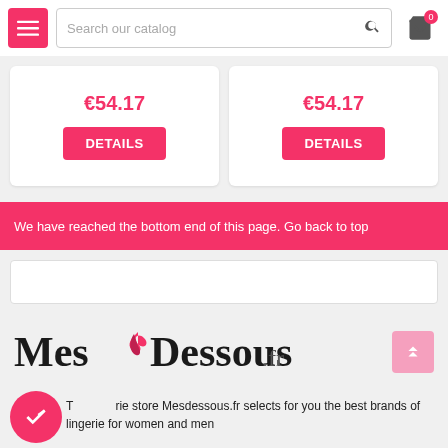Search our catalog
€54.17
DETAILS
€54.17
DETAILS
We have reached the bottom end of this page. Go back to top
[Figure (logo): Mes Dessous.fr logo with pink ribbon icon]
The lingerie store Mesdessous.fr selects for you the best brands of lingerie for women and men